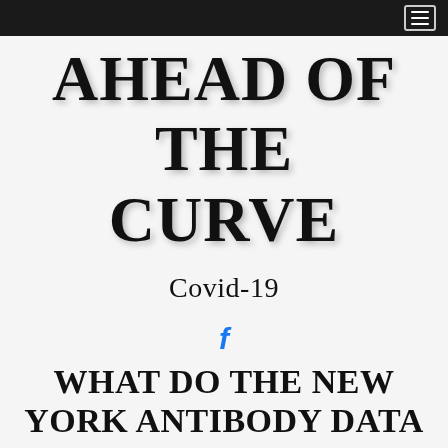AHEAD OF THE CURVE
Covid-19
[Figure (logo): Facebook social media icon (stylized blue f)]
WHAT DO THE NEW YORK ANTIBODY DATA REALLY MEAN?